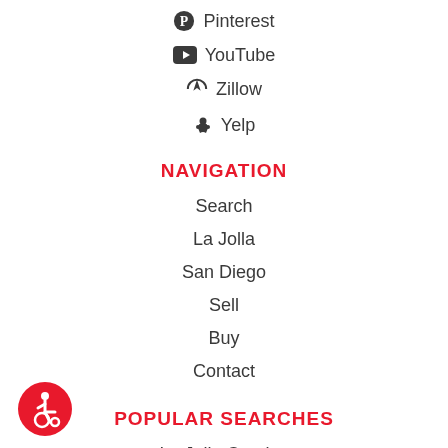Pinterest
YouTube
Zillow
Yelp
NAVIGATION
Search
La Jolla
San Diego
Sell
Buy
Contact
POPULAR SEARCHES
La Jolla Condos
Del Mar
Rancho Santa Fe
[Figure (logo): Accessibility wheelchair icon badge — red circle with white wheelchair user symbol]